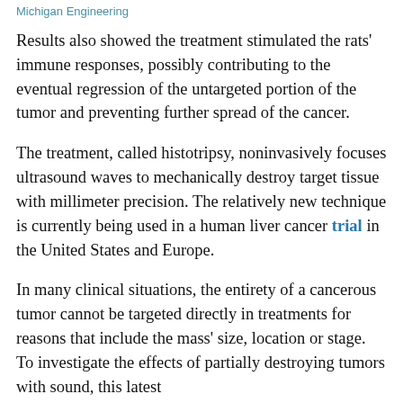Michigan Engineering
Results also showed the treatment stimulated the rats' immune responses, possibly contributing to the eventual regression of the untargeted portion of the tumor and preventing further spread of the cancer.
The treatment, called histotripsy, noninvasively focuses ultrasound waves to mechanically destroy target tissue with millimeter precision. The relatively new technique is currently being used in a human liver cancer trial in the United States and Europe.
In many clinical situations, the entirety of a cancerous tumor cannot be targeted directly in treatments for reasons that include the mass' size, location or stage. To investigate the effects of partially destroying tumors with sound, this latest